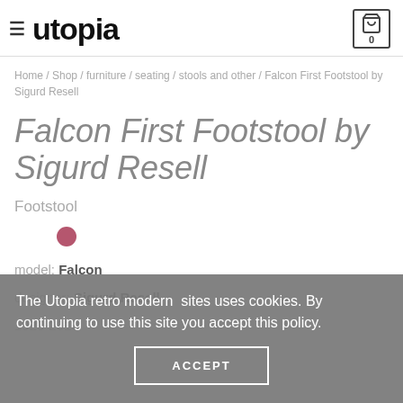utopia
Home / Shop / furniture / seating / stools and other / Falcon First Footstool by Sigurd Resell
Falcon First Footstool by Sigurd Resell
Footstool
model: Falcon
designer: Sigurd Resell
1920-2010
The Utopia retro modern  sites uses cookies. By continuing to use this site you accept this policy. ACCEPT